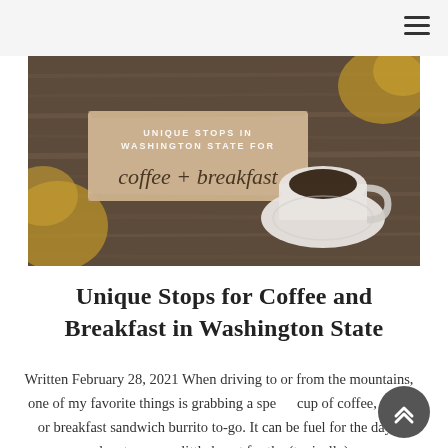[Figure (photo): Hero banner image showing a coffee cup on a wooden surface with golden/yellow paint accents. Text overlay reads 'UNIQUE STOPS IN WASHINGTON STATE FOR coffee + breakfast' on a torn paper background.]
Unique Stops for Coffee and Breakfast in Washington State
Written February 28, 2021 When driving to or from the mountains, one of my favorite things is grabbing a special cup of coffee, treat, or breakfast sandwich burrito to-go. It can be fuel for the day's adventures or a little boost for the (typically)